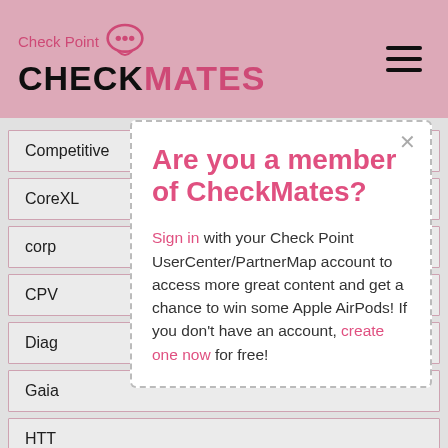Check Point CheckMates
Competitive  2
CoreXL  5
corp...
CPV...
Diag...
Gaia...
HTT...
Identity Awareness  33
Integrations  1
[Figure (screenshot): Modal dialog asking 'Are you a member of CheckMates?' with sign in and create account links]
Are you a member of CheckMates? Sign in with your Check Point UserCenter/PartnerMap account to access more great content and get a chance to win some Apple AirPods! If you don't have an account, create one now for free!